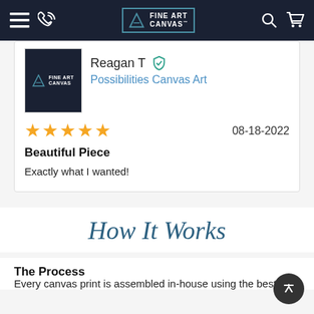Fine Art Canvas - navigation bar
Reagan T [verified] — Possibilities Canvas Art
★★★★★  08-18-2022
Beautiful Piece
Exactly what I wanted!
How It Works
The Process
Every canvas print is assembled in-house using the best